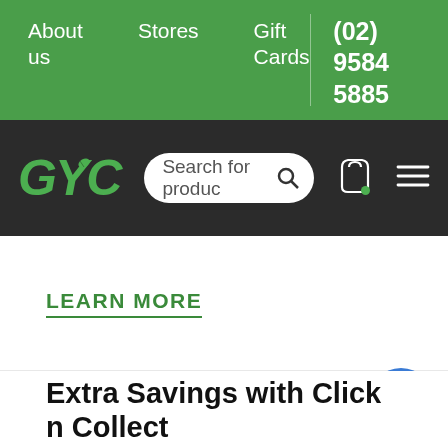About us   Stores   Gift Cards   (02) 9584 5885
[Figure (logo): GYC green logo with leaf icon, search bar, cart icon, and hamburger menu on dark background navigation bar]
LEARN MORE
[Figure (illustration): Gray store/shop icon with location pin marker]
Extra Savings with Click n Collect